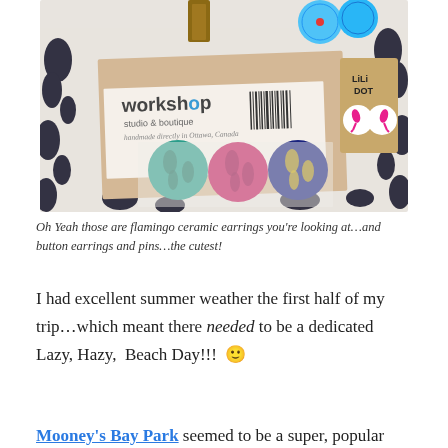[Figure (photo): Photo of handmade jewelry items including button earrings and pins from Workshop Studio & Boutique, Ottawa Canada, and flamingo ceramic earrings on a decorative black and white fabric background.]
Oh Yeah those are flamingo ceramic earrings you're looking at…and button earrings and pins…the cutest!
I had excellent summer weather the first half of my trip…which meant there needed to be a dedicated Lazy, Hazy,  Beach Day!!! 🙂
Mooney's Bay Park seemed to be a super, popular